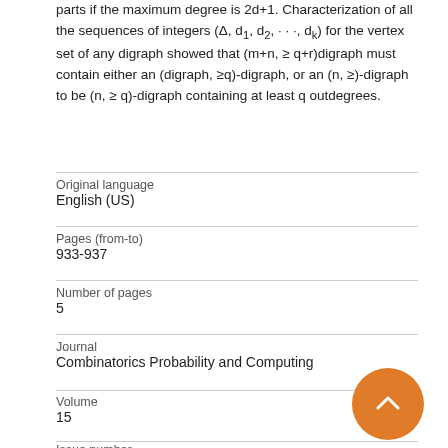parts if the maximum degree is 2d+1. Characterization of all the sequences of integers (Δ, d₁, d₂, · · ·, dₖ) for the vertex set of any digraph showed that (m+n, ≥ q+r)digraph must contain either an (digraph, ≥q)-digraph, or an (n, ≥)-digraph to be (n, ≥ q)-digraph containing at least q outdegrees.
| Original language | English (US) |
| Pages (from-to) | 933-937 |
| Number of pages | 5 |
| Journal | Combinatorics Probability and Computing |
| Volume | 15 |
| Issue number |  |